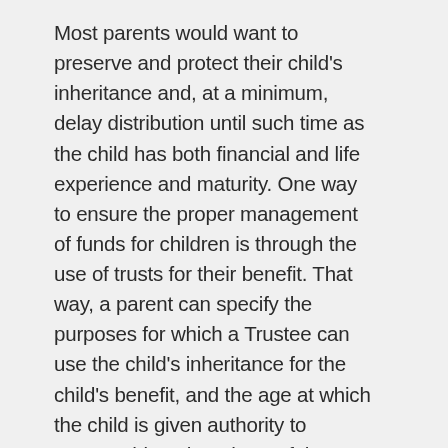Most parents would want to preserve and protect their child's inheritance and, at a minimum, delay distribution until such time as the child has both financial and life experience and maturity. One way to ensure the proper management of funds for children is through the use of trusts for their benefit. That way, a parent can specify the purposes for which a Trustee can use the child's inheritance for the child's benefit, and the age at which the child is given authority to manage his or her share of the estate assets.